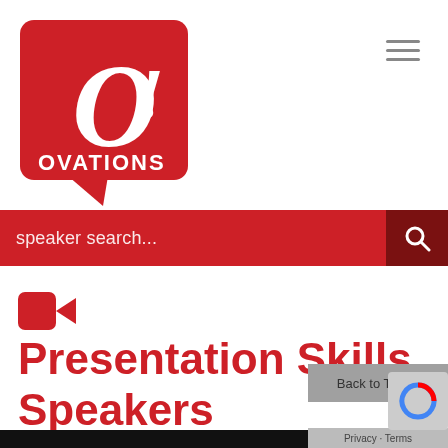[Figure (logo): Ovations speaker bureau logo — red speech bubble with large white O and exclamation mark, OVATIONS text in white at bottom]
speaker search...
Presentation Skills Speakers
Back to Top
Privacy · Terms